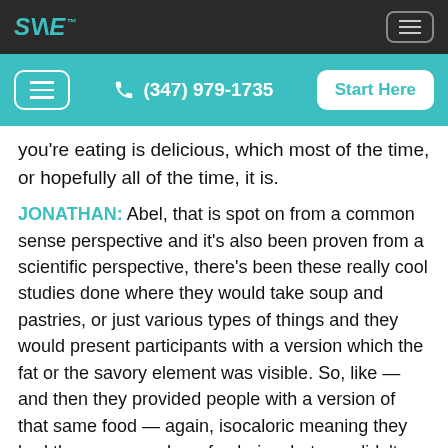SANE logo and navigation bar
Menu | (347) 979-1735 | Start Here
you're eating is delicious, which most of the time, or hopefully all of the time, it is.
JONATHAN: Abel, that is spot on from a common sense perspective and it's also been proven from a scientific perspective, there's been these really cool studies done where they would take soup and pastries, or just various types of things and they would present participants with a version which the fat or the savory element was visible. So, like — and then they provided people with a version of that same food — again, isocaloric meaning they had the same number of calories, but one didn't look decadent and the other